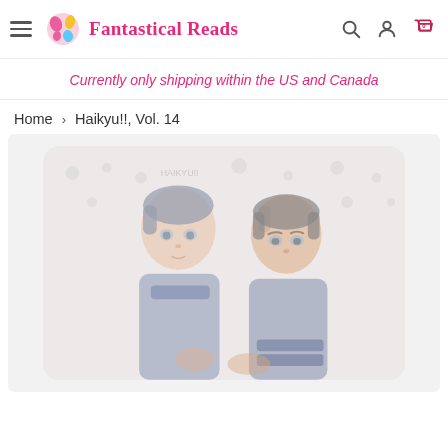Fantastical Reads — navigation header with hamburger menu, logo, search, account, and cart icons
Currently only shipping within the US and Canada
Home > Haikyu!!, Vol. 14
[Figure (photo): Book cover image of Haikyu!!, Vol. 14 showing two manga-style male characters in sports uniforms against a light background with faint dot pattern. The image is faded/watermarked.]